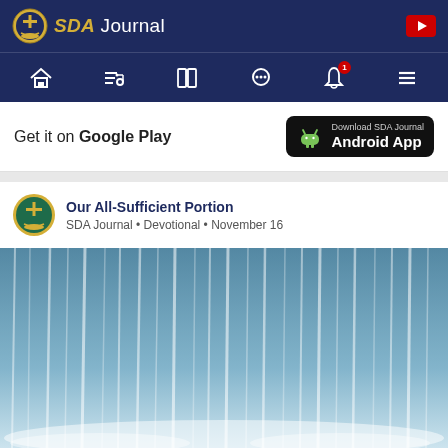SDA Journal
[Figure (screenshot): Navigation bar with home, playlist, book, chat, bell (with badge 1), and menu icons on dark blue background]
Get it on Google Play
[Figure (logo): Download SDA Journal Android App button on black background with Android robot icon]
Our All-Sufficient Portion
SDA Journal • Devotional • November 16
[Figure (photo): Close-up photograph of flowing waterfall water cascading downward]